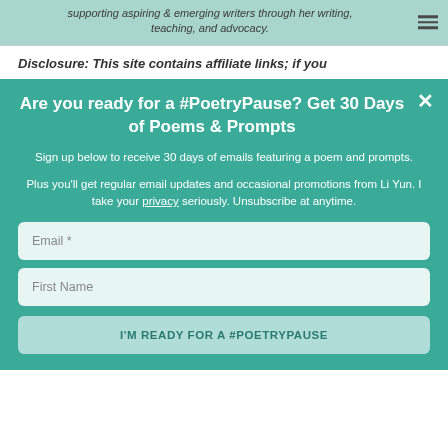supporting aspiring & emerging writers through her writing, teaching, and advocacy.
Disclosure: This site contains affiliate links; if you
Are you ready for a #PoetryPause? Get 30 Days of Poems & Prompts
Sign up below to receive 30 days of emails featuring a poem and prompts.
Plus you'll get regular email updates and occasional promotions from Li Yun. I take your privacy seriously. Unsubscribe at anytime.
Email *
First Name
I'M READY FOR A #POETRYPAUSE